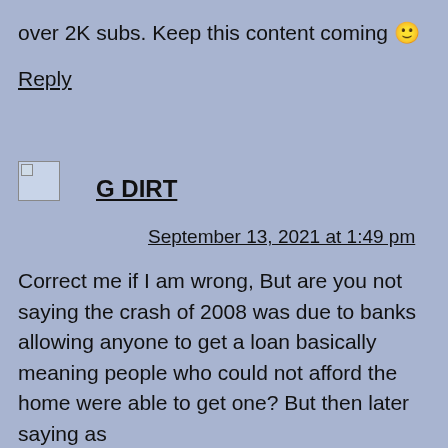over 2K subs. Keep this content coming 🙂
Reply
G DIRT
September 13, 2021 at 1:49 pm
Correct me if I am wrong, But are you not saying the crash of 2008 was due to banks allowing anyone to get a loan basically meaning people who could not afford the home were able to get one? But then later saying as